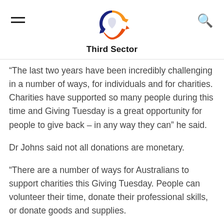Third Sector
“The last two years have been incredibly challenging in a number of ways, for individuals and for charities. Charities have supported so many people during this time and Giving Tuesday is a great opportunity for people to give back – in any way they can” he said.
Dr Johns said not all donations are monetary.
“There are a number of ways for Australians to support charities this Giving Tuesday. People can volunteer their time, donate their professional skills, or donate goods and supplies.